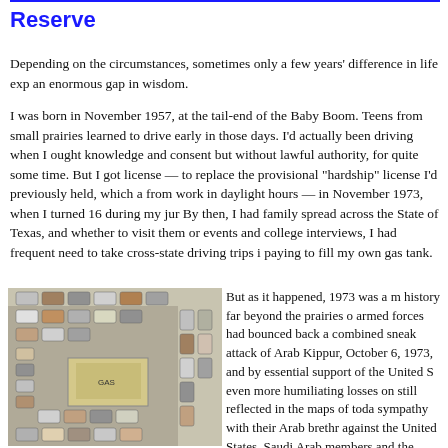Reserve
Depending on the circumstances, sometimes only a few years' difference in life exp an enormous gap in wisdom.
I was born in November 1957, at the tail-end of the Baby Boom. Teens from small prairies learned to drive early in those days. I'd actually been driving when I ought knowledge and consent but without lawful authority, for quite some time. But I got license — to replace the provisional "hardship" license I'd previously held, which a from work in daylight hours — in November 1973, when I turned 16 during my jur By then, I had family spread across the State of Texas, and whether to visit them or events and college interviews, I had frequent need to take cross-state driving trips i paying to fill my own gas tank.
[Figure (photo): Aerial view of a gas station with many cars lined up waiting, seen from above. Cars are parked and queuing in multiple rows around a covered station canopy.]
But as it happened, 1973 was a m history far beyond the prairies o armed forces had bounced back a combined sneak attack of Arab Kippur, October 6, 1973, and by essential support of the United S even more humiliating losses on still reflected in the maps of toda sympathy with their Arab breth against the United States, Saudi Arab members and the